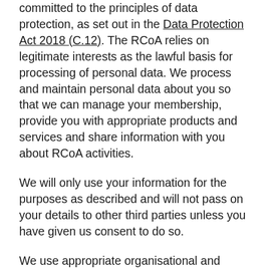committed to the principles of data protection, as set out in the Data Protection Act 2018 (C.12). The RCoA relies on legitimate interests as the lawful basis for processing of personal data. We process and maintain personal data about you so that we can manage your membership, provide you with appropriate products and services and share information with you about RCoA activities.
We will only use your information for the purposes as described and will not pass on your details to other third parties unless you have given us consent to do so.
We use appropriate organisational and technical measures to ensure that your data are secure and protected from loss, misuse and unauthorised access or alteration.
You have the right to ask for a copy of the